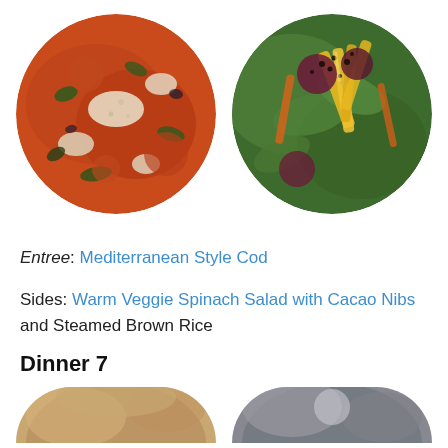[Figure (photo): Circular photo of Mediterranean Style Cod dish — tomato sauce with white fish and spinach]
[Figure (photo): Circular photo of Warm Veggie Spinach Salad with Cacao Nibs — colorful vegetables on spinach with dark nibs]
Entree: Mediterranean Style Cod
Sides: Warm Veggie Spinach Salad with Cacao Nibs and Steamed Brown Rice
Dinner 7
[Figure (photo): Partial circular photo at bottom left, cropped]
[Figure (photo): Partial circular photo at bottom right, cropped]